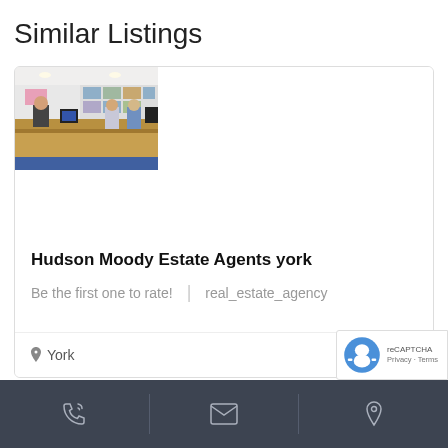Similar Listings
[Figure (photo): Interior of a real estate agency office with staff members seated at a wooden desk/counter. A person in a suit is visible on the left, and several other staff members are visible behind the counter. Property listing photos are displayed on the wall in the background.]
Hudson Moody Estate Agents york
Be the first one to rate! | real_estate_agency
York
Open
[Figure (logo): Google reCAPTCHA badge with robot icon and Privacy/Terms links]